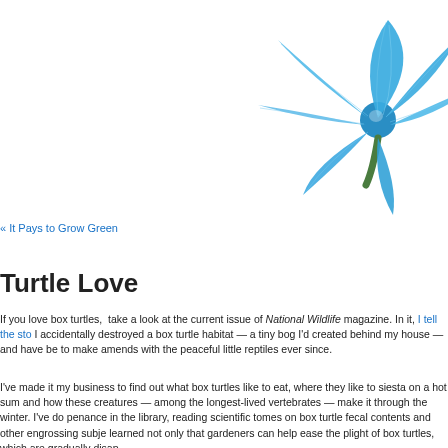[Figure (illustration): A blue flower with multiple petals and a green stem, illustrated in a detailed artistic style, positioned in the upper right of the page.]
« It Pays to Grow Green
Turtle Love
If you love box turtles,  take a look at the current issue of National Wildlife magazine. In it, I tell the sto I accidentally destroyed a box turtle habitat — a tiny bog I'd created behind my house — and have be to make amends with the peaceful little reptiles ever since.
I've made it my business to find out what box turtles like to eat, where they like to siesta on a hot sum and how these creatures — among the longest-lived vertebrates — make it through the winter. I've do penance in the library, reading scientific tomes on box turtle fecal contents and other engrossing subje learned not only that gardeners can help ease the plight of box turtles, which are gradually disap